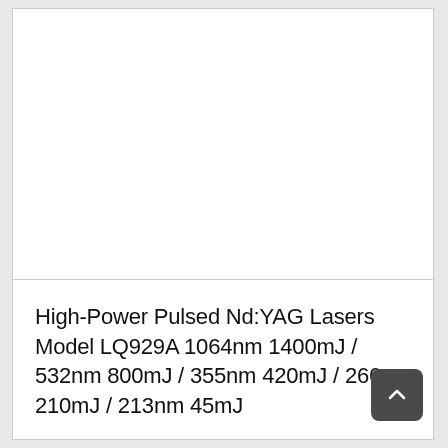[Figure (photo): White/blank image area representing a product photo placeholder for High-Power Pulsed Nd:YAG Laser model LQ929A]
High-Power Pulsed Nd:YAG Lasers Model LQ929A 1064nm 1400mJ / 532nm 800mJ / 355nm 420mJ / 266nm 210mJ / 213nm 45mJ